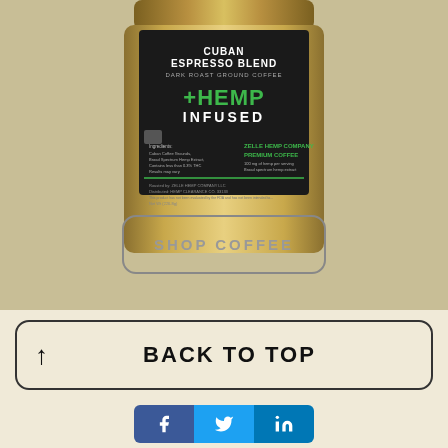[Figure (photo): Gold and black coffee bag labeled 'Cuban Espresso Blend, Dark Roast Ground Coffee, +Hemp Infused, Zelle Hemp Company Premium Coffee']
SHOP COFFEE
BACK TO TOP
[Figure (infographic): Social share buttons: Facebook, Twitter, LinkedIn]